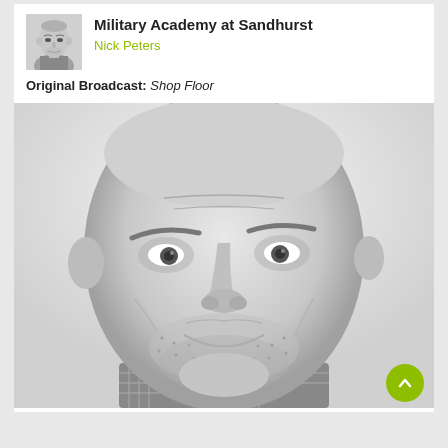Military Academy at Sandhurst
Nick Peters
Original Broadcast: Shop Floor
[Figure (photo): Black and white close-up portrait photo of an older man with short grey hair, a warm expression, and a checked shirt collar visible at the bottom.]